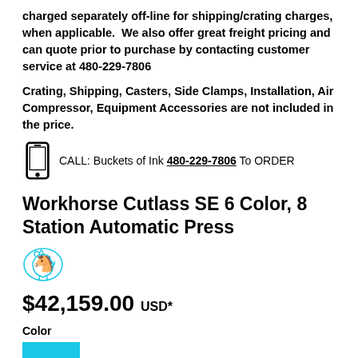charged separately off-line for shipping/crating charges, when applicable.  We also offer great freight pricing and can quote prior to purchase by contacting customer service at 480-229-7806
Crating, Shipping, Casters, Side Clamps, Installation, Air Compressor, Equipment Accessories are not included in the price.
CALL: Buckets of Ink 480-229-7806 To ORDER
Workhorse Cutlass SE 6 Color, 8 Station Automatic Press
[Figure (logo): Workhorse brand logo - horse illustration in teal/blue]
$42,159.00 USD*
Color
[Figure (illustration): Cyan/teal color swatch square]
Workhorse
Size